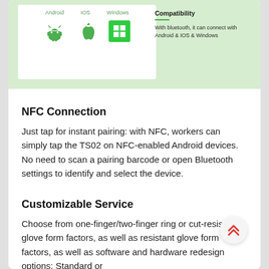[Figure (illustration): Product compatibility image showing Android, IOS, and Windows icons with green background and compatibility description text on the right.]
NFC Connection
Just tap for instant pairing: with NFC, workers can simply tap the TS02 on NFC-enabled Android devices. No need to scan a pairing barcode or open Bluetooth settings to identify and select the device.
Customizable Service
Choose from one-finger/two-finger ring or cut-resistant glove form factors, as well as resistant glove form factors, as well as software and hardware redesign options; Standard or